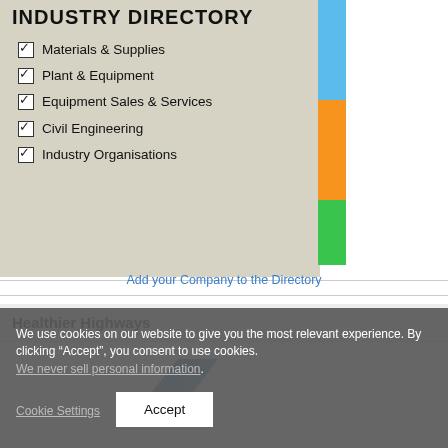INDUSTRY DIRECTORY
Materials & Supplies
Plant & Equipment
Equipment Sales & Services
Civil Engineering
Industry Organisations
Add your Company to the Directory
Healthier Highways
[Figure (logo): Blue angular arrow/chevron logo for Healthier Highways]
We use cookies on our website to give you the most relevant experience. By clicking “Accept”, you consent to use cookies. We never sell personal information.
Cookie Settings
Accept